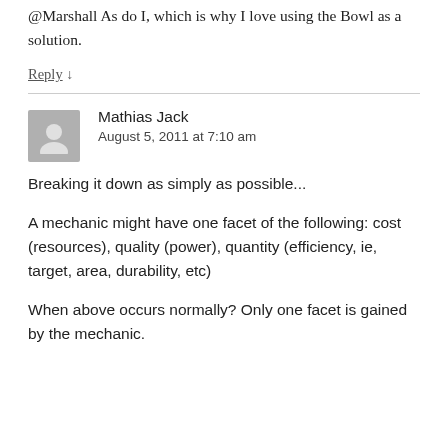@Marshall As do I, which is why I love using the Bowl as a solution.
Reply ↓
Mathias Jack
August 5, 2011 at 7:10 am
Breaking it down as simply as possible...
A mechanic might have one facet of the following: cost (resources), quality (power), quantity (efficiency, ie, target, area, durability, etc)
When above occurs normally? Only one facet is gained by the mechanic.